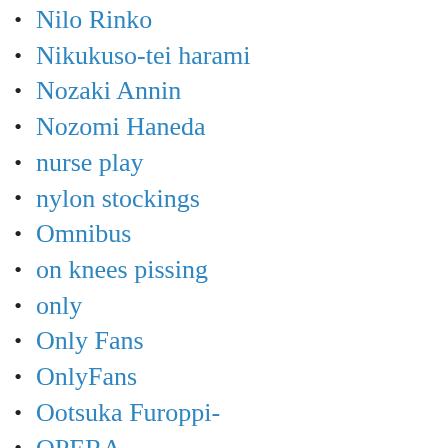Nilo Rinko
Nikukuso-tei harami
Nozaki Annin
Nozomi Haneda
nurse play
nylon stockings
Omnibus
on knees pissing
only
Only Fans
OnlyFans
Ootsuka Furoppi-
OPERA
Oral
Orgasm
Orgasms
Other